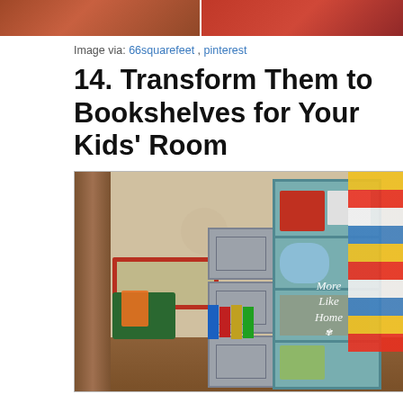[Figure (photo): Top partial image showing red outdoor scene, split into two panels]
Image via: 66squarefeet , pinterest
14. Transform Them to Bookshelves for Your Kids' Room
[Figure (photo): Kids' room with bookshelves made from milk crates and a light blue bookshelf, filled with books, baskets, and toys. Colorful geometric curtain on right. 'More Like Home' watermark in bottom right.]